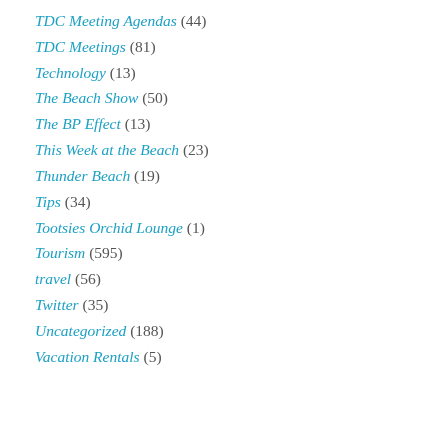TDC Meeting Agendas (44)
TDC Meetings (81)
Technology (13)
The Beach Show (50)
The BP Effect (13)
This Week at the Beach (23)
Thunder Beach (19)
Tips (34)
Tootsies Orchid Lounge (1)
Tourism (595)
travel (56)
Twitter (35)
Uncategorized (188)
Vacation Rentals (5)